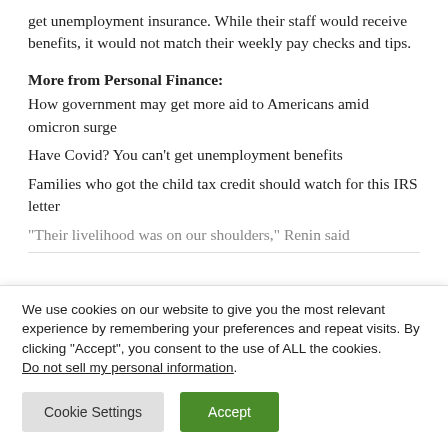get unemployment insurance. While their staff would receive benefits, it would not match their weekly pay checks and tips.
More from Personal Finance:
How government may get more aid to Americans amid omicron surge
Have Covid? You can't get unemployment benefits
Families who got the child tax credit should watch for this IRS letter
“Their livelihood was on our shoulders,” Renin said
We use cookies on our website to give you the most relevant experience by remembering your preferences and repeat visits. By clicking “Accept”, you consent to the use of ALL the cookies.
Do not sell my personal information.